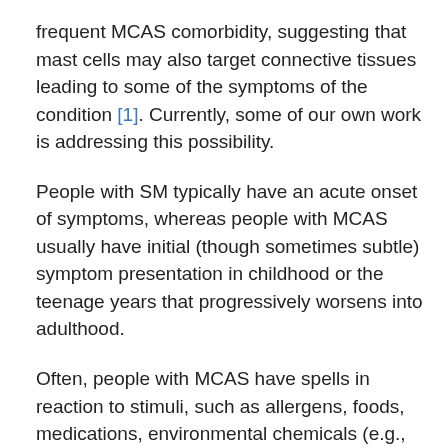frequent MCAS comorbidity, suggesting that mast cells may also target connective tissues leading to some of the symptoms of the condition [1]. Currently, some of our own work is addressing this possibility.
People with SM typically have an acute onset of symptoms, whereas people with MCAS usually have initial (though sometimes subtle) symptom presentation in childhood or the teenage years that progressively worsens into adulthood.
Often, people with MCAS have spells in reaction to stimuli, such as allergens, foods, medications, environmental chemicals (e.g., perfumes, cleaning products), temperature, and even emotional or physical stress.